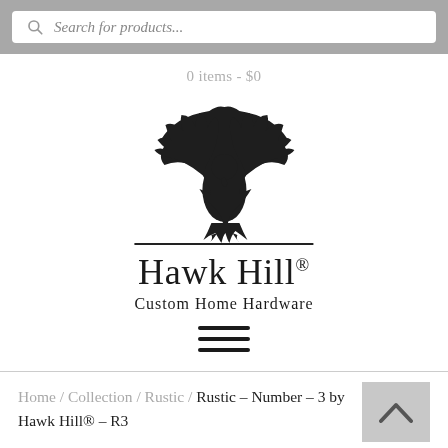Search for products...
0 items - $0
[Figure (logo): Hawk Hill Custom Home Hardware logo — eagle silhouette above the brand name 'Hawk Hill®' with tagline 'Custom Home Hardware']
[Figure (other): Hamburger menu icon — three horizontal lines]
Home / Collection / Rustic / Rustic – Number – 3 by Hawk Hill® – R3